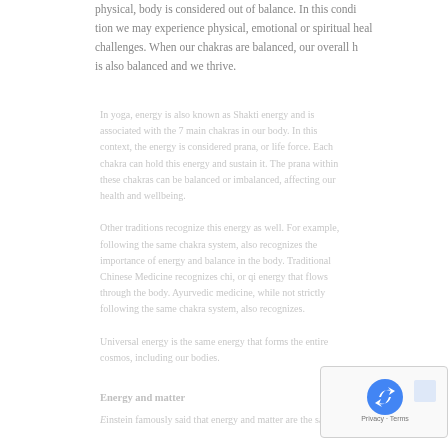physical, body is considered out of balance. In this condition we may experience physical, emotional or spiritual health challenges. When our chakras are balanced, our overall health is also balanced and we thrive.
In yoga, energy is also known as Shakti energy and is associated with the 7 main chakras in our body. In this context, the energy is considered prana, or life force. Each chakra can hold this energy and sustain it. The prana within these chakras can be balanced or imbalanced, affecting our health and wellbeing.

Other traditions recognize this energy as well. For example, Traditional Chinese Medicine recognizes chi, or qi energy that flows through the body. Ayurvedic medicine, while not strictly following the same chakra system, also recognizes the importance of energy and balance in the body.
Universal energy is the same energy that forms the entire cosmos, including our bodies.
Energy and matter
E
instein famously said that
energy and matter are the same thing and that